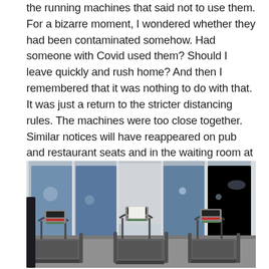the running machines that said not to use them. For a bizarre moment, I wondered whether they had been contaminated somehow. Had someone with Covid used them? Should I leave quickly and rush home? And then I remembered that it was nothing to do with that. It was just a return to the stricter distancing rules. The machines were too close together. Similar notices will have reappeared on pub and restaurant seats and in the waiting room at the doctors. Life can continue for now. . . but don't get too close.
[Figure (photo): Photograph of gym treadmill running machines lined up side by side, seen from behind, with large windows in the background showing a dark exterior. A notice paper is visible on the middle treadmill's console.]